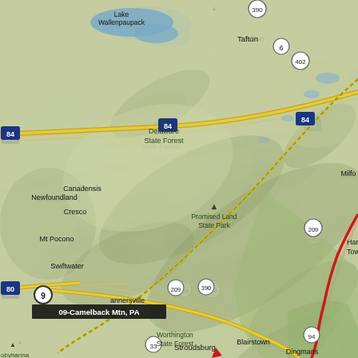[Figure (map): Topographic road map of northeastern Pennsylvania showing the Pocono Mountains region. Features include Interstate 84 running east-west across the upper portion, Route 390, Route 402, Route 6, Route 209, Route 94, Route 33, Route 80. Place names visible: Lake Wallenpaupack, Tafton, Milford (partial), Newfoundland, Promised Land State Park, Delaware State Forest, Tobyhanna State Park (partial), Dingmans Ferry, Canadensis, Cresco, Mt Pocono, Swiftwater, Tannersville, Worthington State Forest, Stroudsburg, Blairstown, Hampton Township (partial). A yellow dotted trail line runs diagonally from upper-right to lower-left across the map. A red route line runs along the right side going south. A numbered marker '9' with label '09-Camelback Mtn, PA' appears in the lower-left area. The map background shows shaded relief terrain with green forested areas and blue water bodies.]